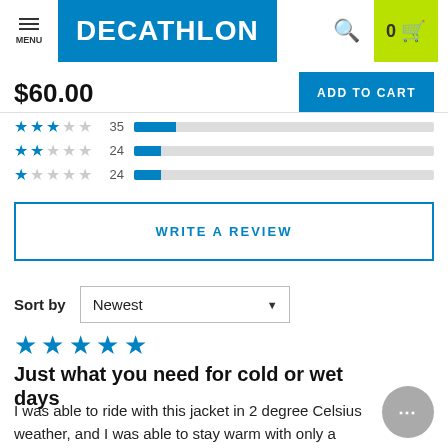[Figure (screenshot): Decathlon website header with hamburger menu, Decathlon logo in blue, search icon, and cart with 0 items on green background]
$60.00
ADD TO CART
[Figure (bar-chart): Star rating bars: 3 stars=35, 2 stars=24, 1 star=24]
WRITE A REVIEW
Sort by
Newest
[Figure (other): 5 blue filled stars indicating 5-star review rating]
Just what you need for cold or wet days
I was able to ride with this jacket in 2 degree Celsius weather, and I was able to stay warm with only a simple